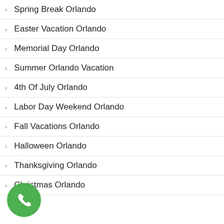Spring Break Orlando
Easter Vacation Orlando
Memorial Day Orlando
Summer Orlando Vacation
4th Of July Orlando
Labor Day Weekend Orlando
Fall Vacations Orlando
Halloween Orlando
Thanksgiving Orlando
Christmas Orlando
[Figure (illustration): Green circular phone call button with white telephone handset icon]